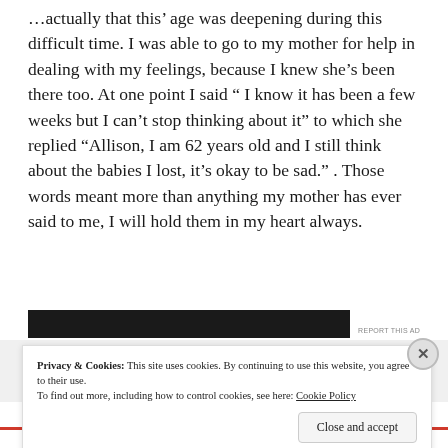...actually that this’ age was deepening during this difficult time. I was able to go to my mother for help in dealing with my feelings, because I knew she’s been there too. At one point I said “ I know it has been a few weeks but I can’t stop thinking about it” to which she replied “Allison, I am 62 years old and I still think about the babies I lost, it’s okay to be sad.” . Those words meant more than anything my mother has ever said to me, I will hold them in my heart always.
[Figure (other): Advertisement bar (dark horizontal banner) with REPORT THIS AD label]
Privacy & Cookies: This site uses cookies. By continuing to use this website, you agree to their use.
To find out more, including how to control cookies, see here: Cookie Policy